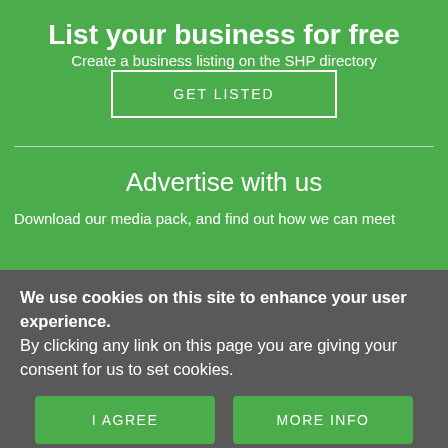List your business for free
Create a business listing on the SHP directory
GET LISTED
Advertise with us
Download our media pack, and find out how we can meet
We use cookies on this site to enhance your user experience.
By clicking any link on this page you are giving your consent for us to set cookies.
I AGREE
MORE INFO